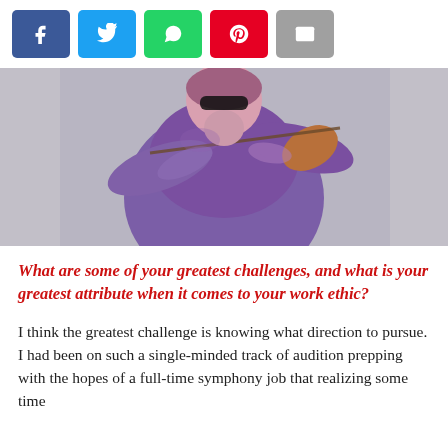[Figure (other): Social sharing bar with Facebook (blue), Twitter (cyan), WhatsApp (green), Pinterest (red), and Email (grey) buttons]
[Figure (photo): A woman in a purple long-sleeve top playing violin, wearing sunglasses, with a light grey background. The image has a stylized/illustrated look with purple and pink tones.]
What are some of your greatest challenges, and what is your greatest attribute when it comes to your work ethic?
I think the greatest challenge is knowing what direction to pursue. I had been on such a single-minded track of audition prepping with the hopes of a full-time symphony job that realizing some time